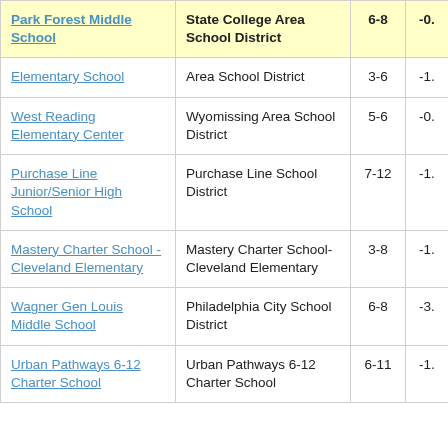| School | District | Grades | Value |
| --- | --- | --- | --- |
| Park Forest Middle School | State College Area School District | 6-8 | -0. |
| Elementary School | Area School District | 3-6 | -1. |
| West Reading Elementary Center | Wyomissing Area School District | 5-6 | -0. |
| Purchase Line Junior/Senior High School | Purchase Line School District | 7-12 | -1. |
| Mastery Charter School - Cleveland Elementary | Mastery Charter School- Cleveland Elementary | 3-8 | -1. |
| Wagner Gen Louis Middle School | Philadelphia City School District | 6-8 | -3. |
| Urban Pathways 6-12 Charter School | Urban Pathways 6-12 Charter School | 6-11 | -1. |